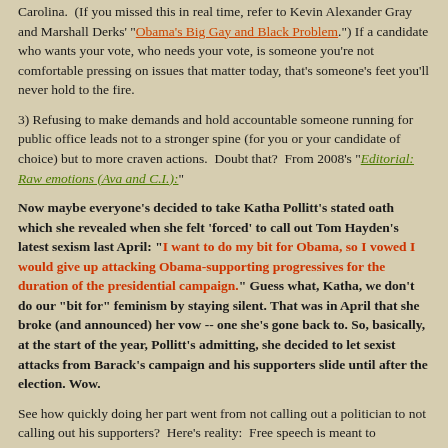Carolina.  (If you missed this in real time, refer to Kevin Alexander Gray and Marshall Derks' "Obama's Big Gay and Black Problem.") If a candidate who wants your vote, who needs your vote, is someone you're not comfortable pressing on issues that matter today, that's someone's feet you'll never hold to the fire.
3) Refusing to make demands and hold accountable someone running for public office leads not to a stronger spine (for you or your candidate of choice) but to more craven actions.  Doubt that?  From 2008's "Editorial: Raw emotions (Ava and C.I.):"
Now maybe everyone's decided to take Katha Pollitt's stated oath which she revealed when she felt 'forced' to call out Tom Hayden's latest sexism last April: "I want to do my bit for Obama, so I vowed I would give up attacking Obama-supporting progressives for the duration of the presidential campaign." Guess what, Katha, we don't do our "bit for" feminism by staying silent. That was in April that she broke (and announced) her vow -- one she's gone back to. So, basically, at the start of the year, Pollitt's admitting, she decided to let sexist attacks from Barack's campaign and his supporters slide until after the election. Wow.
See how quickly doing her part went from not calling out a politician to not calling out his supporters?  Here's reality:  Free speech is meant to